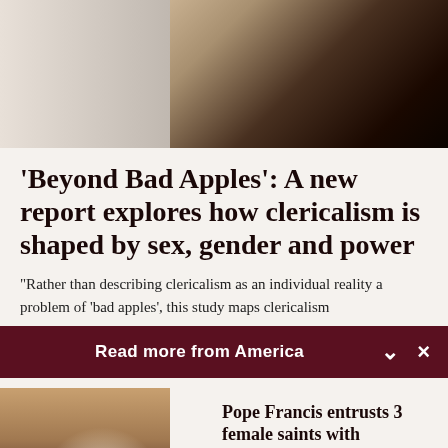[Figure (photo): Top portion of an article photo showing figures in light and shadow, partial view.]
'Beyond Bad Apples': A new report explores how clericalism is shaped by sex, gender and power
“Rather than describing clericalism as an individual reality a problem of ‘bad apples’, this study maps clericalism
Read more from America
[Figure (photo): Thumbnail photo of Pope Francis meeting with a group of people, appearing to be in discussion.]
Pope Francis entrusts 3 female saints with new…
Cindy Wooden -

Catholic News Service